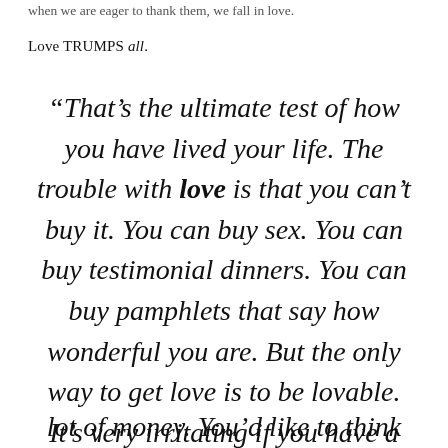when we are eager to thank them, we fall in love.
Love TRUMPS all.
“That’s the ultimate test of how you have lived your life. The trouble with love is that you can’t buy it. You can buy sex. You can buy testimonial dinners. You can buy pamphlets that say how wonderful you are. But the only way to get love is to be lovable. It’s very irritating if you have a
lot of money. You’d like to think